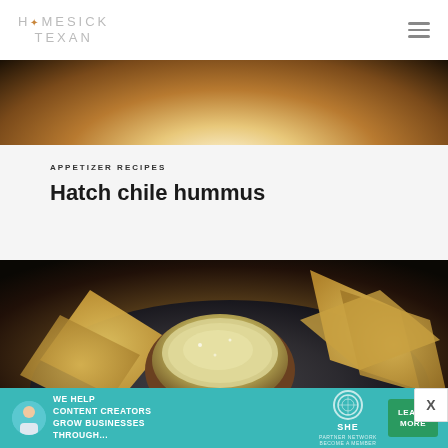HOMESICK TEXAN
[Figure (photo): Top portion of a food photo showing a white plate with warm tones, partially cropped]
APPETIZER RECIPES
Hatch chile hummus
[Figure (photo): Bowl of hummus on a dark plate surrounded by tortilla chips]
[Figure (infographic): SHE Partner Network advertisement banner: 'WE HELP CONTENT CREATORS GROW BUSINESSES THROUGH...' with LEARN MORE button]